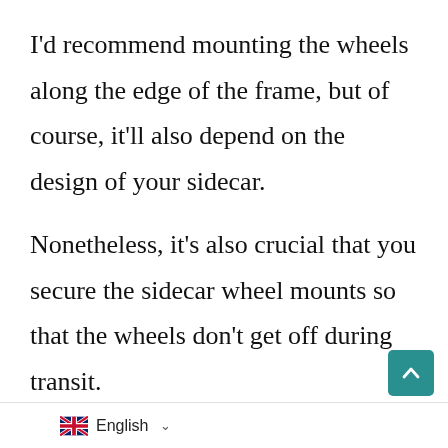I'd recommend mounting the wheels along the edge of the frame, but of course, it'll also depend on the design of your sidecar.

Nonetheless, it's also crucial that you secure the sidecar wheel mounts so that the wheels don't get off during transit.

I usually use split pins, pivot bearings, bolts, nuts, screws, lock washers, and
English